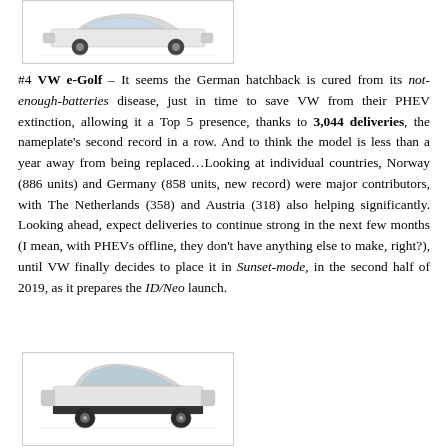[Figure (photo): White VW e-Golf hatchback car image at top of page]
#4 VW e-Golf – It seems the German hatchback is cured from its not-enough-batteries disease, just in time to save VW from their PHEV extinction, allowing it a Top 5 presence, thanks to 3,044 deliveries, the nameplate's second record in a row. And to think the model is less than a year away from being replaced…Looking at individual countries, Norway (886 units) and Germany (858 units, new record) were major contributors, with The Netherlands (358) and Austria (318) also helping significantly. Looking ahead, expect deliveries to continue strong in the next few months (I mean, with PHEVs offline, they don't have anything else to make, right?), until VW finally decides to place it in Sunset-mode, in the second half of 2019, as it prepares the ID/Neo launch.
[Figure (photo): BMW i3 electric car image at bottom of page]